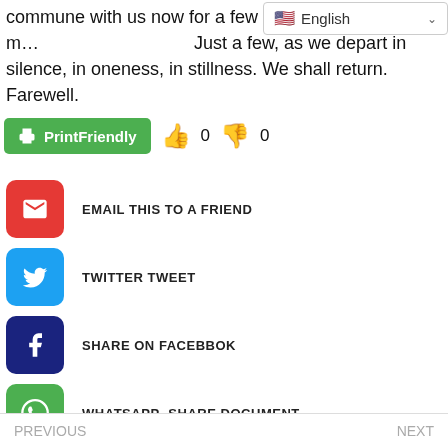commune with us now for a few m... Just a few, as we depart in silence, in oneness, in stillness. We shall return. Farewell.
[Figure (screenshot): Language selector dropdown showing English with US flag]
[Figure (infographic): PrintFriendly green button, thumbs up count 0, thumbs down count 0]
EMAIL THIS TO A FRIEND
TWITTER TWEET
SHARE ON FACEBBOK
WHATSAPP -SHARE DOCUMENT
PREVIOUS    NEXT